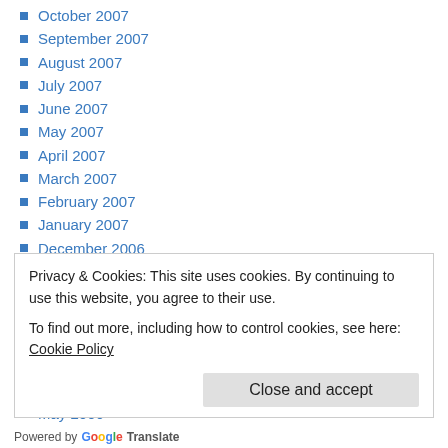October 2007
September 2007
August 2007
July 2007
June 2007
May 2007
April 2007
March 2007
February 2007
January 2007
December 2006
November 2006
October 2006
September 2006
August 2006
July 2006
June 2006
May 2006 (partial)
Privacy & Cookies: This site uses cookies. By continuing to use this website, you agree to their use.
To find out more, including how to control cookies, see here: Cookie Policy
Close and accept
Powered by Google Translate